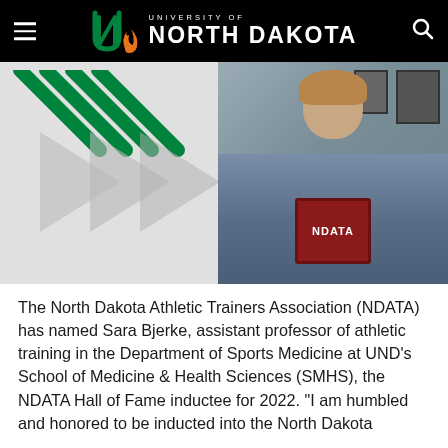University of North Dakota
[Figure (photo): A woman (Sara Bjerke) smiling and holding an NDATA Hall of Fame award plaque. The page also shows a UND branded graphic with green chevron arrows on the left side of the photo area.]
The North Dakota Athletic Trainers Association (NDATA) has named Sara Bjerke, assistant professor of athletic training in the Department of Sports Medicine at UND’s School of Medicine & Health Sciences (SMHS), the NDATA Hall of Fame inductee for 2022. “I am humbled and honored to be inducted into the North Dakota